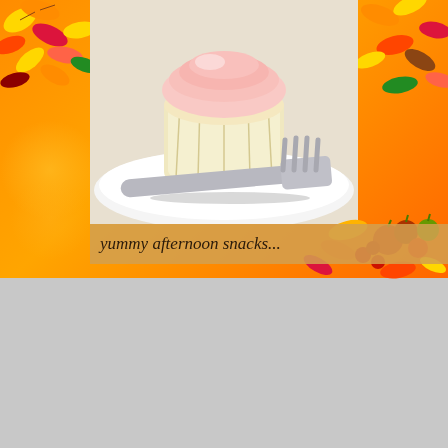[Figure (photo): Close-up photo of a frosted cupcake on a white plate with a metal fork beside it, set against an autumn/fall themed orange background with colorful maple leaves decorating the borders.]
yummy afternoon snacks...
[Figure (photo): Photo of a cloudy sky with white cumulus clouds against a grayish-blue sky, displayed on a light gray background.]